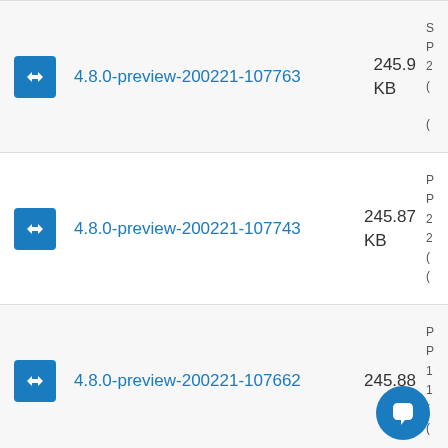4.8.0-preview-200221-107763  245.9 KB
4.8.0-preview-200221-107743  245.87 KB
4.8.0-preview-200221-107662  245.88 KB